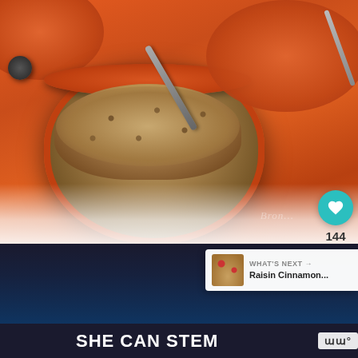[Figure (photo): Orange ceramic ramekin/crock pots filled with oatmeal with raisins/dark berries, with spoons, on a white tablecloth. Warm food photography with shallow depth of field.]
144
WHAT'S NEXT → Raisin Cinnamon...
SHE CAN STEM
m°